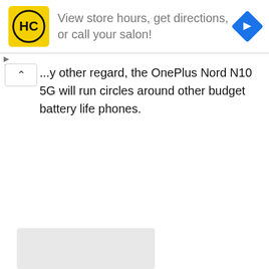[Figure (screenshot): Advertisement banner with yellow HC logo on left, text 'View store hours, get directions, or call your salon!' in gray, and a blue diamond navigation arrow icon on the right]
...y other regard, the OnePlus Nord N10 5G will run circles around other budget battery life phones.
[Figure (other): Gray placeholder rectangle at the bottom of the page]